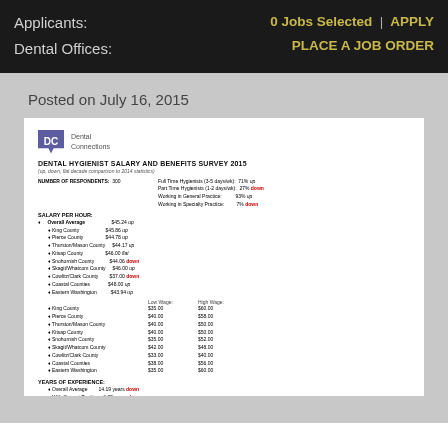Applicants:
Dental Offices:
0 Jobs Selected | APPLY
PLACE A JOB ORDER
Posted on July 16, 2015
[Figure (screenshot): Dental Connections logo and Dental Hygienist Salary and Benefits Survey 2015 document excerpt showing salary per hour data, years of experience, and duties performed sections with statistics for various Washington counties.]